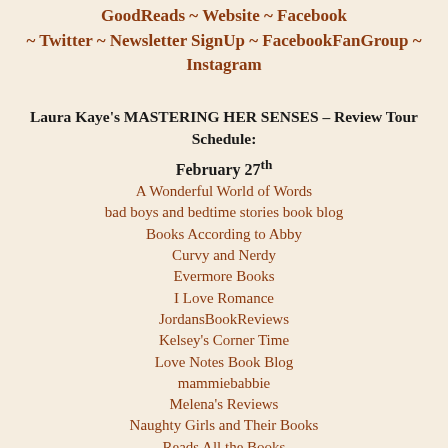GoodReads ~ Website ~ Facebook ~ Twitter ~ Newsletter SignUp ~ FacebookFanGroup ~ Instagram
Laura Kaye's MASTERING HER SENSES – Review Tour Schedule:
February 27th
A Wonderful World of Words
bad boys and bedtime stories book blog
Books According to Abby
Curvy and Nerdy
Evermore Books
I Love Romance
JordansBookReviews
Kelsey's Corner Time
Love Notes Book Blog
mammiebabbie
Melena's Reviews
Naughty Girls and Their Books
Reads All the Books
S3OG